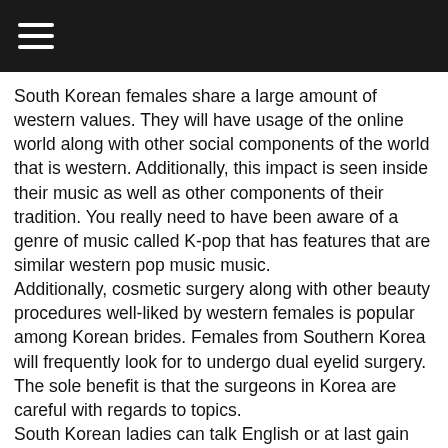☰
South Korean females share a large amount of western values. They will have usage of the online world along with other social components of the world that is western. Additionally, this impact is seen inside their music as well as other components of their tradition. You really need to have been aware of a genre of music called K-pop that has features that are similar western pop music music.
Additionally, cosmetic surgery along with other beauty procedures well-liked by western females is popular among Korean brides. Females from Southern Korea will frequently look for to undergo dual eyelid surgery. The sole benefit is that the surgeons in Korea are careful with regards to topics.
South Korean ladies can talk English or at last gain access to networks where they are able to learn the language.
South Korean brides aren't skeptical about conference men that are western. As a result of the doubt because of the relationship with North Korea, South